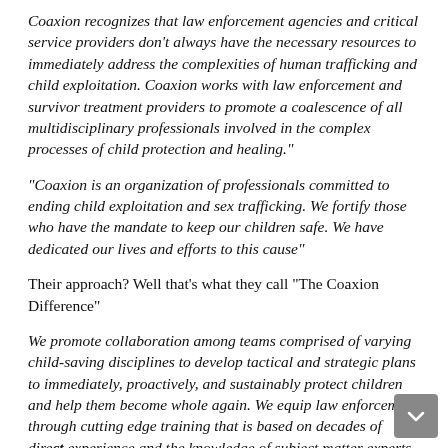Coaxion recognizes that law enforcement agencies and critical service providers don't always have the necessary resources to immediately address the complexities of human trafficking and child exploitation. Coaxion works with law enforcement and survivor treatment providers to promote a coalescence of all multidisciplinary professionals involved in the complex processes of child protection and healing."
"Coaxion is an organization of professionals committed to ending child exploitation and sex trafficking. We fortify those who have the mandate to keep our children safe. We have dedicated our lives and efforts to this cause"
Their approach? Well that's what they call "The Coaxion Difference"
We promote collaboration among teams comprised of varying child-saving disciplines to develop tactical and strategic plans to immediately, proactively, and sustainably protect children and help them become whole again. We equip law enforcement through cutting edge training that is based on decades of direct experience and the knowledge of subject matter experts. In